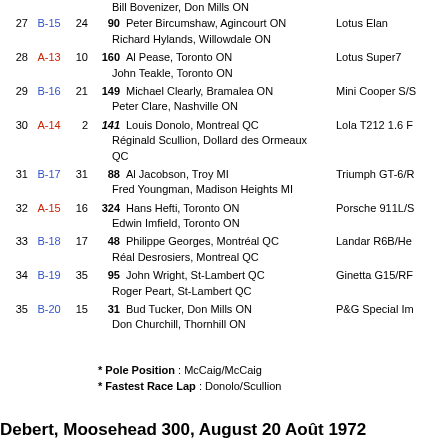| Pos | Class | Start | No | Driver | Car |
| --- | --- | --- | --- | --- | --- |
|  |  |  |  | Bill Bovenizer, Don Mills ON |  |
| 27 | B-15 | 24 | 90 | Peter Bircumshaw, Agincourt ON | Lotus Elan |
|  |  |  |  | Richard Hylands, Willowdale ON |  |
| 28 | A-13 | 10 | 160 | Al Pease, Toronto ON | Lotus Super7 |
|  |  |  |  | John Teakle, Toronto ON |  |
| 29 | B-16 | 21 | 149 | Michael Clearly, Bramalea ON | Mini Cooper S/S |
|  |  |  |  | Peter Clare, Nashville ON |  |
| 30 | A-14 | 2 | 141 | Louis Donolo, Montreal QC | Lola T212 1.6 F |
|  |  |  |  | Réginald Scullion, Dollard des Ormeaux QC |  |
| 31 | B-17 | 31 | 88 | Al Jacobson, Troy MI | Triumph GT-6/R |
|  |  |  |  | Fred Youngman, Madison Heights MI |  |
| 32 | A-15 | 16 | 324 | Hans Hefti, Toronto ON | Porsche 911L/S |
|  |  |  |  | Edwin Imfield, Toronto ON |  |
| 33 | B-18 | 17 | 48 | Philippe Georges, Montréal QC | Landar R6B/He |
|  |  |  |  | Réal Desrosiers, Montreal QC |  |
| 34 | B-19 | 35 | 95 | John Wright, St-Lambert QC | Ginetta G15/RF |
|  |  |  |  | Roger Peart, St-Lambert QC |  |
| 35 | B-20 | 15 | 31 | Bud Tucker, Don Mills ON | P&G Special Im |
|  |  |  |  | Don Churchill, Thornhill ON |  |
* Pole Position : McCaig/McCaig
* Fastest Race Lap : Donolo/Scullion
Debert, Moosehead 300, August 20 Août 1972